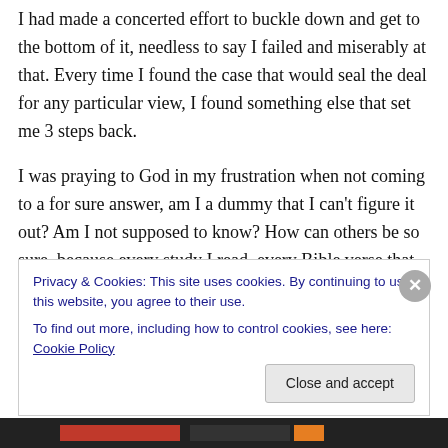I had made a concerted effort to buckle down and get to the bottom of it, needless to say I failed and miserably at that. Every time I found the case that would seal the deal for any particular view, I found something else that set me 3 steps back.
I was praying to God in my frustration when not coming to a for sure answer, am I a dummy that I can't figure it out? Am I not supposed to know? How can others be so sure, because every study I read, every Bible verse that studies referred to for all three cases were the same verses, yet they were all convinced that their interpretation was
Privacy & Cookies: This site uses cookies. By continuing to use this website, you agree to their use.
To find out more, including how to control cookies, see here: Cookie Policy
Close and accept